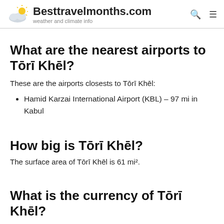Besttravelmonths.com — weather and climate info
What are the nearest airports to Tōrī Khēl?
These are the airports closests to Tōrī Khēl:
Hamid Karzai International Airport (KBL) – 97 mi in Kabul
How big is Tōrī Khēl?
The surface area of Tōrī Khēl is 61 mi².
What is the currency of Tōrī Khēl?